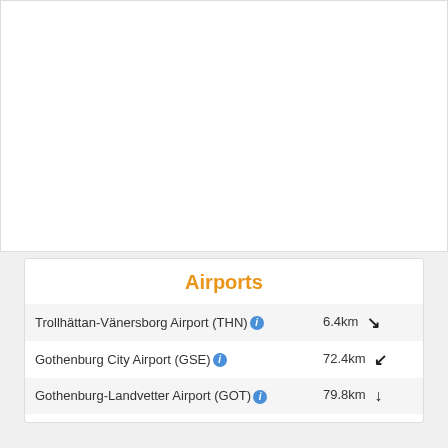[Figure (map): Map placeholder showing geographic area near Trollhättan/Gothenburg region of Sweden]
Airports
| Airport | Distance |
| --- | --- |
| Trollhättan-Vänersborg Airport (THN) | 6.4km ↘ |
| Gothenburg City Airport (GSE) | 72.4km ↙ |
| Gothenburg-Landvetter Airport (GOT) | 79.8km ↓ |